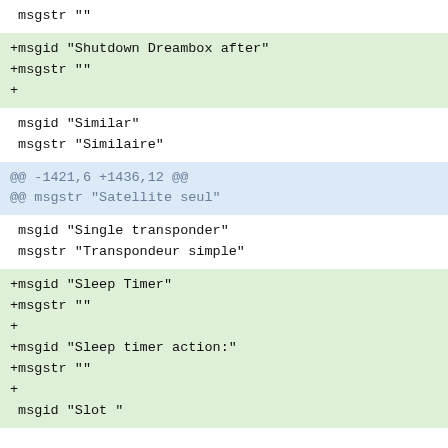msgstr ""
+msgid "Shutdown Dreambox after"
+msgstr ""
+
msgid "Similar"
 msgstr "Similaire"
@@ -1421,6 +1436,12 @@
@@ msgstr "Satellite seul"
msgid "Single transponder"
 msgstr "Transpondeur simple"
+msgid "Sleep Timer"
+msgstr ""
+
+msgid "Sleep timer action:"
+msgstr ""
+
 msgid "Slot "